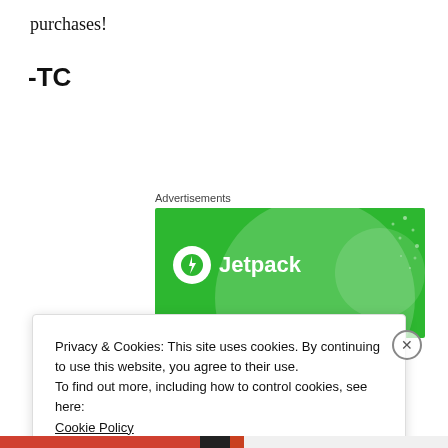purchases!
-TC
Advertisements
[Figure (logo): Jetpack advertisement banner with green background, large circle design, and Jetpack logo with lightning bolt icon]
Privacy & Cookies: This site uses cookies. By continuing to use this website, you agree to their use.
To find out more, including how to control cookies, see here:
Cookie Policy
Close and accept